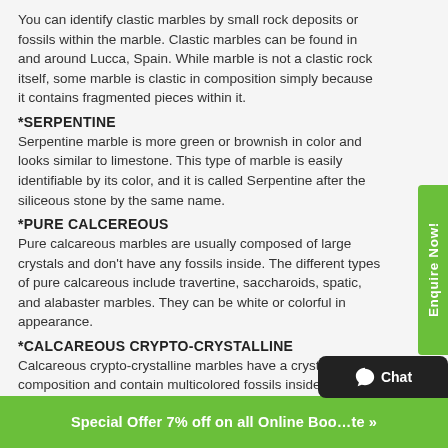You can identify clastic marbles by small rock deposits or fossils within the marble. Clastic marbles can be found in and around Lucca, Spain. While marble is not a clastic rock itself, some marble is clastic in composition simply because it contains fragmented pieces within it.
*SERPENTINE
Serpentine marble is more green or brownish in color and looks similar to limestone. This type of marble is easily identifiable by its color, and it is called Serpentine after the siliceous stone by the same name.
*PURE CALCEREOUS
Pure calcareous marbles are usually composed of large crystals and don't have any fossils inside. The different types of pure calcareous include travertine, saccharoids, spatic, and alabaster marbles. They can be white or colorful in appearance.
*CALCAREOUS CRYPTO-CRYSTALLINE
Calcareous crypto-crystalline marbles have a crystalline composition and contain multicolored fossils inside. Anytime you see vibrantly colored marbles, there's a chance that they are of this composition. One example is the votive chapel of the Unknown Soldier in Rome.
TYPES OF MARBLE BY ORIGIN: DHANDARI MARBLE S...
Special Offer 7% off on all Online Bookings  te »